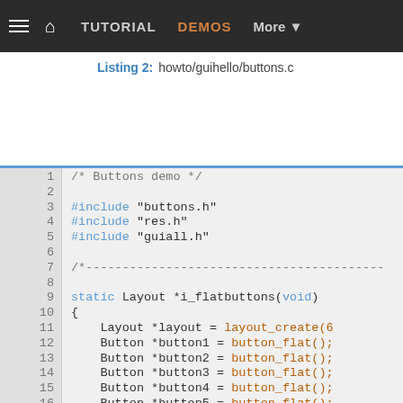≡  🏠  TUTORIAL   DEMOS   More ▼
Listing 2: howto/guihello/buttons.c
[Figure (screenshot): Code listing showing C source file buttons.c with syntax highlighting. Lines 1-22 visible. Contains /* Buttons demo */ comment, #include directives for buttons.h, res.h, guiall.h, a dashed comment line, static Layout *i_flatbuttons(void) function with Layout and Button variable declarations and button_text() calls.]